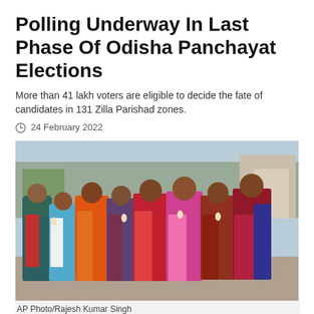Polling Underway In Last Phase Of Odisha Panchayat Elections
More than 41 lakh voters are eligible to decide the fate of candidates in 131 Zilla Parishad zones.
24 February 2022
[Figure (photo): Group of women voters in colorful sarees and headscarves holding up their inked fingers after voting at an Odisha panchayat election polling station.]
AP Photo/Rajesh Kumar Singh
Odisha Registers 70 Per C...